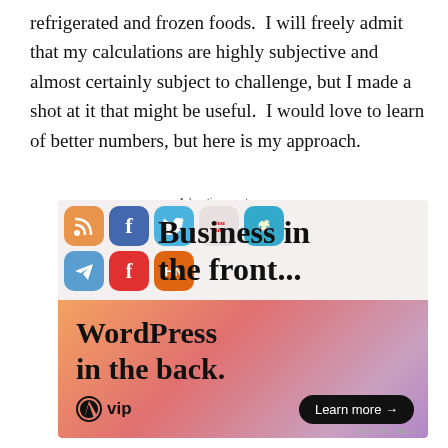refrigerated and frozen foods.  I will freely admit that my calculations are highly subjective and almost certainly subject to challenge, but I made a shot at it that might be useful.  I would love to learn of better numbers, but here is my approach.
Advertisements
[Figure (infographic): An advertisement block showing social media icons (RSS, Facebook, Twitter, YouTube, Reddit, Telegram, Flipboard, Hacker News) overlaid with text 'Business in the front...' and below it a WordPress VIP ad with gradient background reading 'WordPress in the back.' with a 'Learn more →' button.]